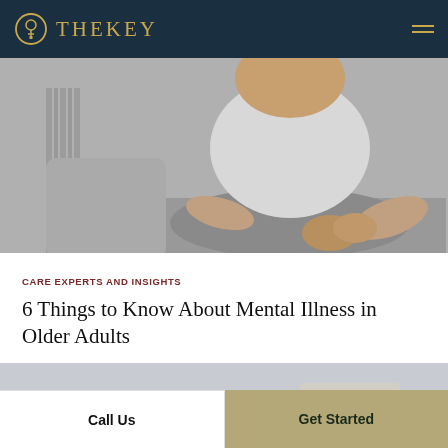TheKey
[Figure (photo): Black and white photo of an older person sitting on a bed or couch, wearing a white t-shirt and grey pants, with hands clasped together, with a radiator visible in the background.]
CARE EXPERTS AND INSIGHTS
6 Things to Know About Mental Illness in Older Adults
[Figure (photo): Partial view of a second photo, light gray and beige tones, appears to be an interior scene.]
Call Us
Get Started